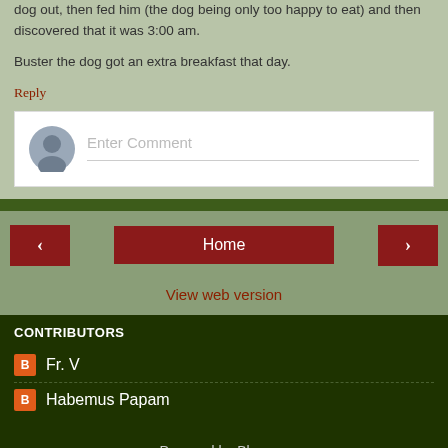dog out, then fed him (the dog being only too happy to eat) and then discovered that it was 3:00 am.
Buster the dog got an extra breakfast that day.
Reply
[Figure (screenshot): Comment input box with avatar icon and 'Enter Comment' placeholder text]
[Figure (screenshot): Navigation bar with left arrow, Home button, and right arrow buttons]
View web version
CONTRIBUTORS
Fr. V
Habemus Papam
Powered by Blogger.